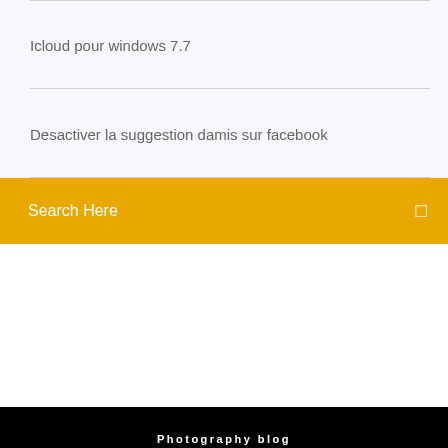Icloud pour windows 7.7
Desactiver la suggestion damis sur facebook
Search Here
Photography blog